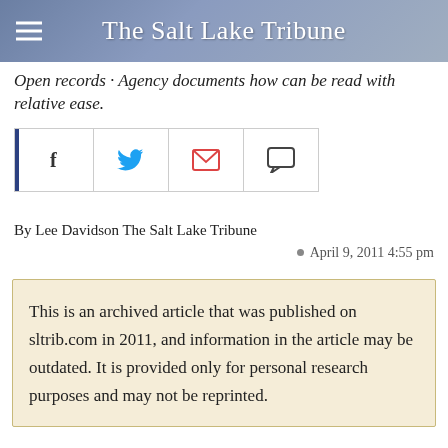The Salt Lake Tribune
Open records · Agency documents how can be read with relative ease.
[Figure (other): Social share buttons: Facebook, Twitter, Email, Comment]
By Lee Davidson The Salt Lake Tribune
April 9, 2011 4:55 pm
This is an archived article that was published on sltrib.com in 2011, and information in the article may be outdated. It is provided only for personal research purposes and may not be reprinted.